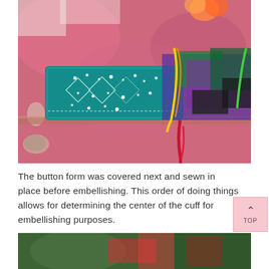[Figure (photo): A teal/turquoise decorative fabric cuff with embroidery and sequins, placed on a colorful painted surface with feathers and ribbons visible nearby.]
The button form was covered next and sewn in place before embellishing. This order of doing things allows for determining the center of the cuff for embellishing purposes.
[Figure (photo): Partial view of colorful fabric or craft materials at the bottom of the page.]